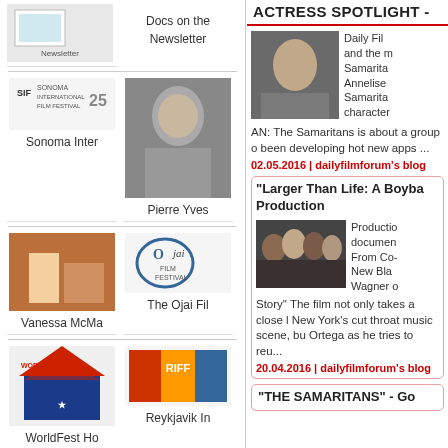[Figure (screenshot): Partial newsletter logo/image at top of left column]
Docs on the
Newsletter
[Figure (logo): Sonoma International Film Festival 25th anniversary logo]
Sonoma Inter
[Figure (photo): Black and white portrait photo of Pierre Yves]
Pierre Yves
[Figure (photo): Photo of Vanessa McMa on red carpet]
Vanessa McMa
[Figure (logo): Ojai Film Festival logo]
The Ojai Fil
[Figure (logo): WorldFest Houston logo]
WorldFest Ho
[Figure (logo): RIFF Reykjavik International Film Festival logo]
Reykjavik In
[Figure (logo): Evolution Mallorca International Film Festival logo]
[Figure (photo): Dark/black square image placeholder]
ACTRESS SPOTLIGHT -
[Figure (photo): Photo of actress from The Samaritans film]
Daily Fil and the m Samarita Annelise Samarita character
AN: The Samaritans is about a group o been developing hot new apps ...
02.05.2016 | dailyfilmforum's blog
"Larger Than Life: A Boyba Production
[Figure (photo): Group photo of young men for Larger Than Life documentary]
Productio documen From Co- New Bla Wagner o
Story" The film not only takes a close l New York's cut throat music scene, bu Ortega as he tries to reu...
20.04.2016 | dailyfilmforum's blog
"THE SAMARITANS" - Go